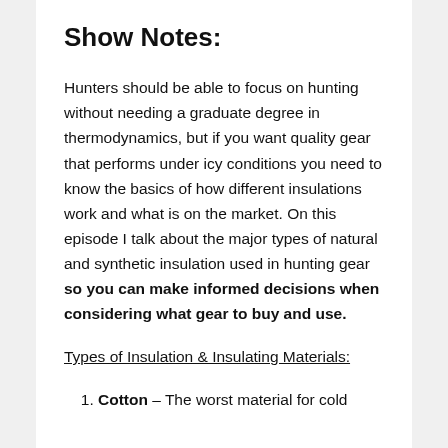Show Notes:
Hunters should be able to focus on hunting without needing a graduate degree in thermodynamics, but if you want quality gear that performs under icy conditions you need to know the basics of how different insulations work and what is on the market. On this episode I talk about the major types of natural and synthetic insulation used in hunting gear so you can make informed decisions when considering what gear to buy and use.
Types of Insulation & Insulating Materials:
Cotton – The worst material for cold